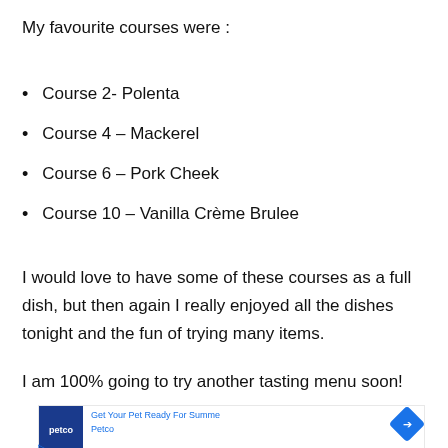My favourite courses were :
Course 2- Polenta
Course 4 – Mackerel
Course 6 – Pork Cheek
Course 10 – Vanilla Crème Brulee
I would love to have some of these courses as a full dish, but then again I really enjoyed all the dishes tonight and the fun of trying many items.
I am 100% going to try another tasting menu soon!
[Figure (screenshot): Partial advertisement banner for Petco showing logo, navigation arrow icon, play and close icons, and text 'Get Your Pet Ready For Summer' with 'Petco' store name and 'Sterling — OPEN 10AM-8PM' partially visible at bottom.]